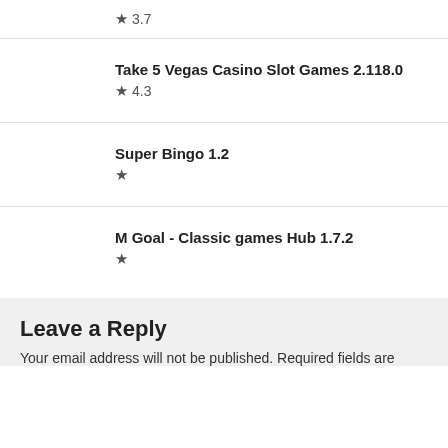★ 3.7
Take 5 Vegas Casino Slot Games 2.118.0
★ 4.3
Super Bingo 1.2
★
M Goal - Classic games Hub 1.7.2
★
Leave a Reply
Your email address will not be published. Required fields are